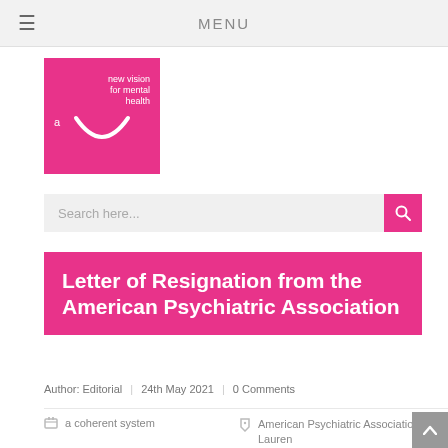MENU
[Figure (logo): Pink square logo with white text 'a new vision for mental health' and a white smile arc]
Search here...
Letter of Resignation from the American Psychiatric Association
Author: Editorial | 24th May 2021 | 0 Comments
a coherent system
American Psychiatric Association, Lauren